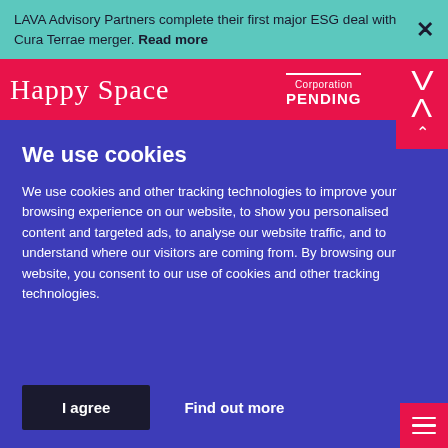LAVA Advisory Partners complete their first major ESG deal with Cura Terrae merger. Read more
[Figure (logo): Happy Space logo with cursive white text on red background, Corporation PENDING label, and VA monogram in top right corner]
We use cookies
We use cookies and other tracking technologies to improve your browsing experience on our website, to show you personalised content and targeted ads, to analyse our website traffic, and to understand where our visitors are coming from. By browsing our website, you consent to our use of cookies and other tracking technologies.
I agree
Find out more